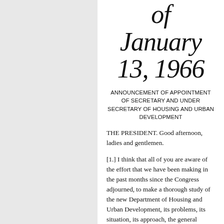of January 13, 1966
ANNOUNCEMENT OF APPOINTMENT OF SECRETARY AND UNDER SECRETARY OF HOUSING AND URBAN DEVELOPMENT
THE PRESIDENT. Good afternoon, ladies and gentlemen.
[1.] I think that all of you are aware of the effort that we have been making in the past months since the Congress adjourned, to make a thorough study of the new Department of Housing and Urban Development, its problems, its situation, its approach, the general nature of the programs they will be carrying out, the criteria, the costs, the benefits, the administration, the